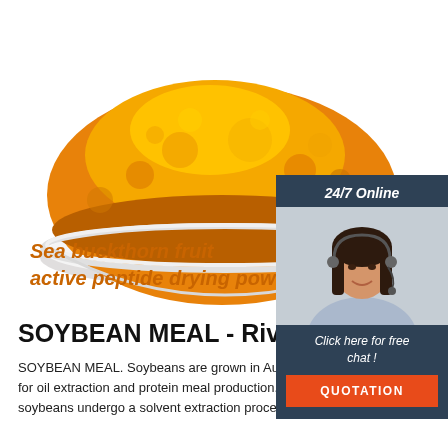[Figure (photo): A white bowl filled with bright orange/yellow sea buckthorn fruit active peptide drying powder on a white background]
Sea buckthorn fruit active peptide drying powd
[Figure (infographic): 24/7 Online chat panel with a customer service agent photo, 'Click here for free chat!' text, and orange QUOTATION button]
SOYBEAN MEAL - Riverina
[Figure (logo): TOP badge logo with orange dots and letters]
SOYBEAN MEAL. Soybeans are grown in Australia for seed production for oil extraction and protein meal production. In oil extraction, soybeans undergo a solvent extraction process to